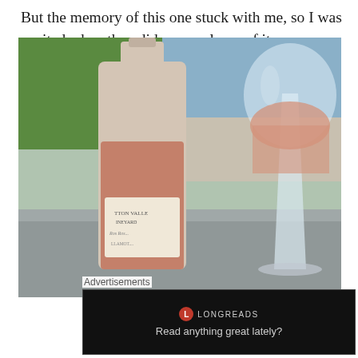But the memory of this one stuck with me, so I was excited when they did a pre-release of it on Valentine's Day. I'm still a little shocked I managed to make it to Patton Valley after Bubbles Fest went down, but so strong was my determination to taste this wine that I made it happen.
[Figure (photo): A bottle of Patton Valley Vineyard rosé wine next to a wine glass filled with pink rosé, photographed outdoors on a table with green garden background.]
Advertisements
[Figure (screenshot): Longreads advertisement banner with dark background. Shows a red circular Longreads logo and the text 'LONGREADS' and 'Read anything great lately?']